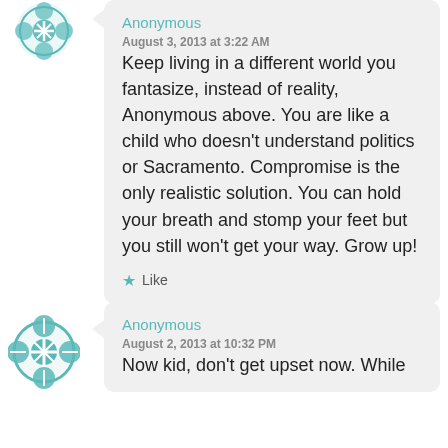[Figure (logo): Teal decorative avatar icon with floral/cross pattern, first comment]
Anonymous
August 3, 2013 at 3:22 AM
Keep living in a different world you fantasize, instead of reality, Anonymous above. You are like a child who doesn't understand politics or Sacramento. Compromise is the only realistic solution. You can hold your breath and stomp your feet but you still won't get your way. Grow up!
★ Like
[Figure (logo): Teal decorative avatar icon with floral/cross pattern, second comment]
Anonymous
August 2, 2013 at 10:32 PM
Now kid, don't get upset now. While